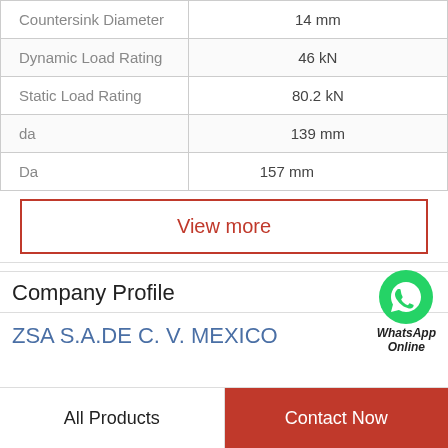| Property | Value |
| --- | --- |
| Countersink Diameter | 14 mm |
| Dynamic Load Rating | 46 kN |
| Static Load Rating | 80.2 kN |
| da | 139 mm |
| Da | 157 mm |
View more
Company Profile
ZSA S.A.DE C. V. MEXICO
All Products
Contact Now
[Figure (logo): WhatsApp Online green icon with text WhatsApp Online]